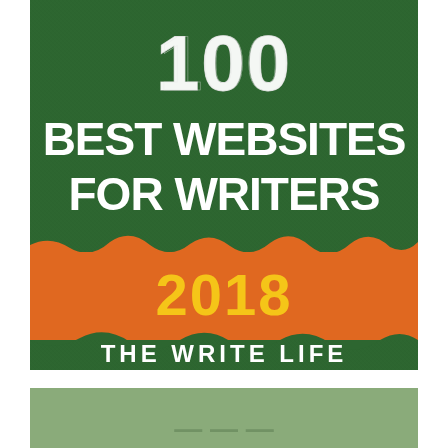[Figure (illustration): Book cover for '100 Best Websites for Writers 2018' by The Write Life. Dark green textured background with white bold text reading '100 BEST WEBSITES FOR WRITERS', an orange torn-paper banner effect in the middle with yellow text '2018', and white text 'THE WRITE LIFE' at the bottom.]
[Figure (illustration): Partial second book cover visible at the bottom of the page, showing a light green/sage background with partial text visible.]